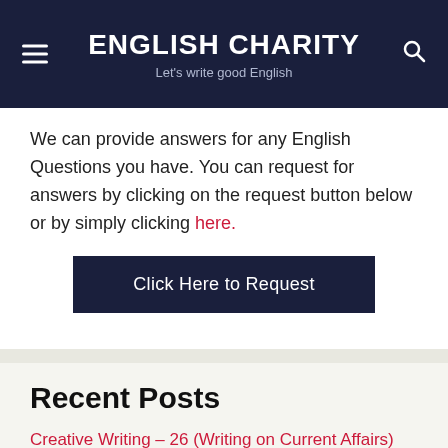ENGLISH CHARITY — Let's write good English
We can provide answers for any English Questions you have. You can request for answers by clicking on the request button below or by simply clicking here.
[Figure (other): Dark navy button labeled 'Click Here to Request']
Recent Posts
Creative Writing – 26 (Writing on Current Affairs)
No Learning without Feeling – Alt. English – Answers
Water – The Elixir of Life – Alt. Eng – Answers
An Educated Person – Alt. English – Answers
Creative Writing – 25 (Write your version)